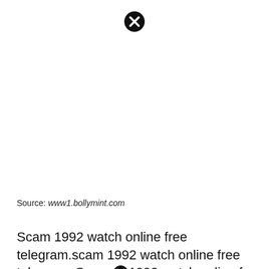[Figure (other): A black circle with a white X inside, used as a close/dismiss button, positioned at the top center of the page.]
Source: www1.bollymint.com
Scam 1992 watch online free telegram.scam 1992 watch online free telegram. Scam 1992 watch online free
[Figure (other): A black circle with a white X inside, used as a close/dismiss button, positioned inline within the text.]